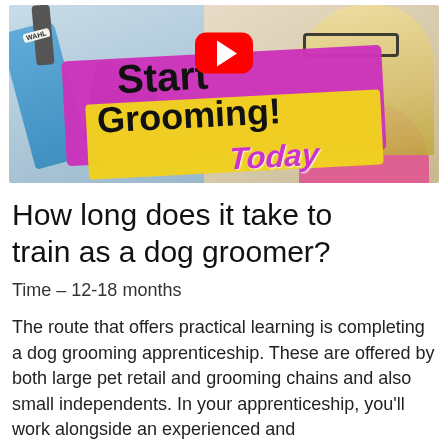[Figure (photo): YouTube thumbnail for dog grooming video titled 'Start Grooming Today!' featuring grooming tools on the left, a woman with blonde hair and glasses on the right, and a YouTube play button overlay. Purple and yellow banner with bold black text 'Start Grooming! Today'.]
How long does it take to train as a dog groomer?
Time – 12-18 months
The route that offers practical learning is completing a dog grooming apprenticeship. These are offered by both large pet retail and grooming chains and also small independents. In your apprenticeship, you'll work alongside an experienced and